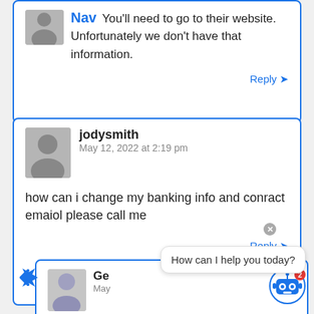[Figure (screenshot): Partial comment from Nav user showing text: You'll need to go to their website. Unfortunately we don't have that information. With Reply button.]
Nav   You'll need to go to their website. Unfortunately we don't have that information.
Reply →
jodysmith
May 12, 2022 at 2:19 pm
how can i change my banking info and conract emaiol please call me
Reply →
[Figure (screenshot): Partial bottom reply box with avatar photo of woman, partial name starting with 'Ge', timestamp starting 'May', chatbot popup saying 'How can I help you today?', robot icon with notification badge 2, close X button.]